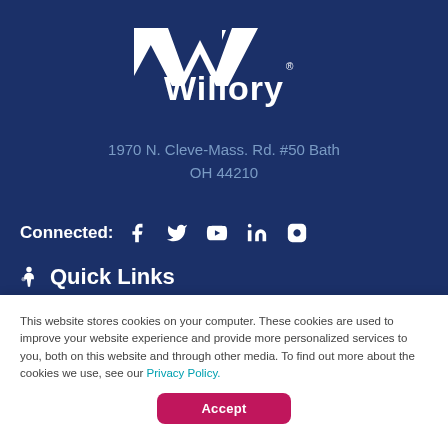[Figure (logo): Willory company logo — white text on dark blue background with a stylized 'W' chevron mark]
1970 N. Cleve-Mass. Rd. #50 Bath
OH 44210
Connected: [Facebook] [Twitter] [YouTube] [LinkedIn] [Instagram]
Quick Links
This website stores cookies on your computer. These cookies are used to improve your website experience and provide more personalized services to you, both on this website and through other media. To find out more about the cookies we use, see our Privacy Policy.
Accept